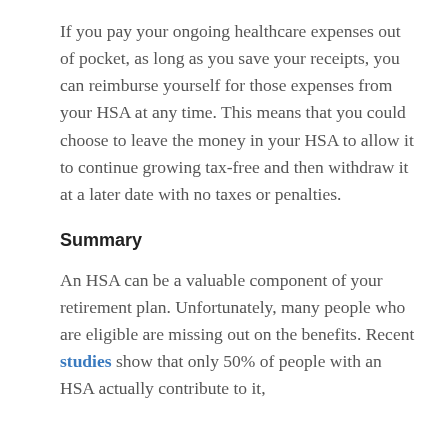If you pay your ongoing healthcare expenses out of pocket, as long as you save your receipts, you can reimburse yourself for those expenses from your HSA at any time. This means that you could choose to leave the money in your HSA to allow it to continue growing tax-free and then withdraw it at a later date with no taxes or penalties.
Summary
An HSA can be a valuable component of your retirement plan. Unfortunately, many people who are eligible are missing out on the benefits. Recent studies show that only 50% of people with an HSA actually contribute to it,